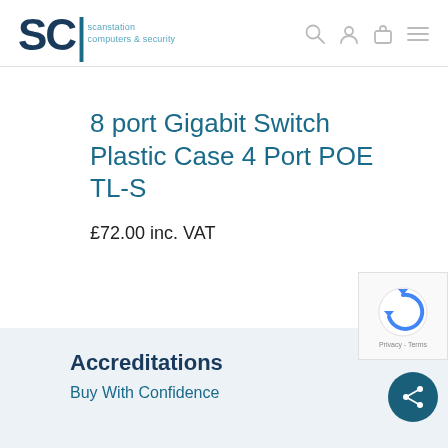[Figure (logo): SCI Scanstation Computers & Security logo with user, account, cart and menu icons]
8 port Gigabit Switch Plastic Case 4 Port POE TL-S
£72.00 inc. VAT
Accreditations
Buy With Confidence